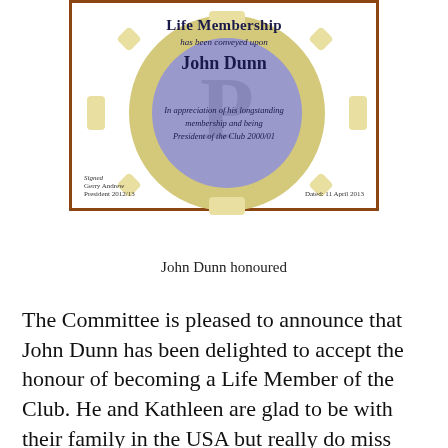[Figure (illustration): A framed Life Membership certificate awarded to John Dunn, with a decorative circular Probus club logo in the background, stating 'Life Membership has been conveyed upon John Dunn. In appreciation of his longstanding membership and being President of the Club 2000/01. Signed Gerry Andrew, President 2012/13. Dated: 11 April 2013.']
John Dunn honoured
The Committee is pleased to announce that John Dunn has been delighted to accept the honour of becoming a Life Member of the Club. He and Kathleen are glad to be with their family in the USA but really do miss their association with Probus. He sends his regards and best wishes to all the members and greatly looks forward to keeping in touch.